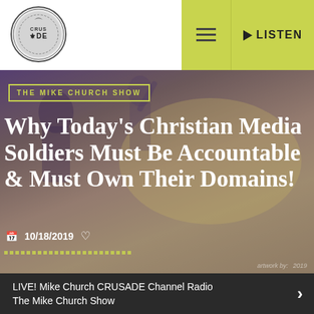[Figure (logo): Crusade Channel circular logo with text CRUSADE]
≡   ▶ LISTEN
[Figure (photo): Hero image background showing soldiers/people with arms raised, overlaid with purple-gold gradient tint]
THE MIKE CHURCH SHOW
Why Today's Christian Media Soldiers Must Be Accountable & Must Own Their Domains!
10/18/2019
artwork by: [artist] 2019
LIVE! Mike Church CRUSADE Channel Radio The Mike Church Show